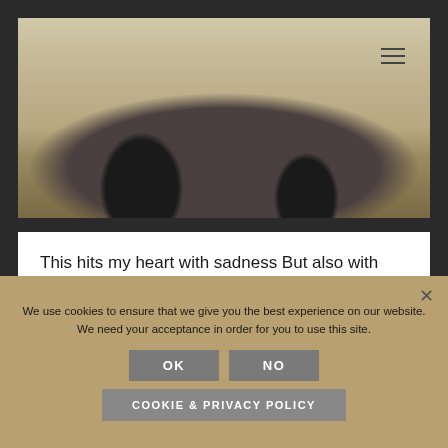[Figure (photo): Close-up photograph of a rhinoceros, showing legs and body near the ground, with dry grass background]
This hits my heart with sadness But also with some reassurance as this species have decided to leave Earth for good. These gentle giants is a great loss to humanity and ...
We use cookies to ensure that we give you the best experience on our website. We need your acceptance in order for you to use this site.
OK
NO
COOKIE & PRIVACY POLICY